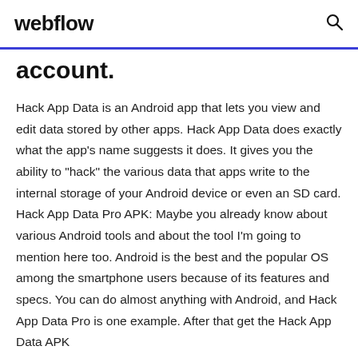webflow
account.
Hack App Data is an Android app that lets you view and edit data stored by other apps. Hack App Data does exactly what the app's name suggests it does. It gives you the ability to "hack" the various data that apps write to the internal storage of your Android device or even an SD card. Hack App Data Pro APK: Maybe you already know about various Android tools and about the tool I'm going to mention here too. Android is the best and the popular OS among the smartphone users because of its features and specs. You can do almost anything with Android, and Hack App Data Pro is one example. After that get the Hack App Data APK